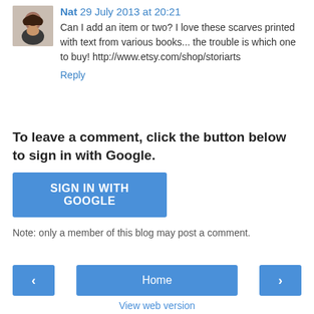Nat 29 July 2013 at 20:21
Can I add an item or two? I love these scarves printed with text from various books... the trouble is which one to buy! http://www.etsy.com/shop/storiarts
Reply
To leave a comment, click the button below to sign in with Google.
SIGN IN WITH GOOGLE
Note: only a member of this blog may post a comment.
Home
View web version
Powered by Blogger.